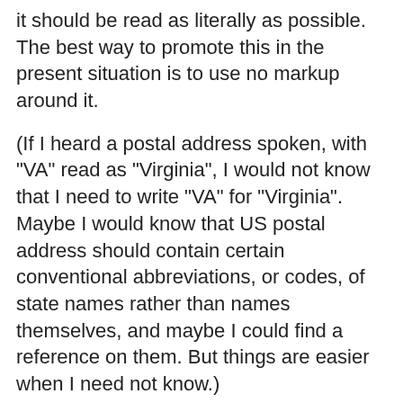it should be read as literally as possible. The best way to promote this in the present situation is to use no markup around it.
(If I heard a postal address spoken, with "VA" read as "Virginia", I would not know that I need to write "VA" for "Virginia". Maybe I would know that US postal address should contain certain conventional abbreviations, or codes, of state names rather than names themselves, and maybe I could find a reference on them. But things are easier when I need not know.)
-- Jukka "Yucca" Korpela,